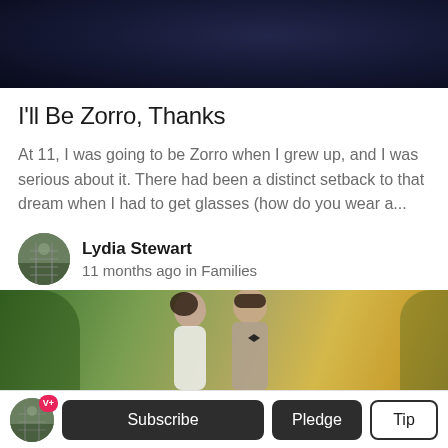[Figure (photo): Dark blue/navy textured background image at the top of the page]
I'll Be Zorro, Thanks
At 11, I was going to be Zorro when I grew up, and I was serious about it. There had been a distinct setback to that dream when I had to get glasses (how do you wear a...
Lydia Stewart
11 months ago in Families
[Figure (photo): Wedding couple photo — woman in white dress and man in gray suit with bow tie, outdoors with autumn foliage background]